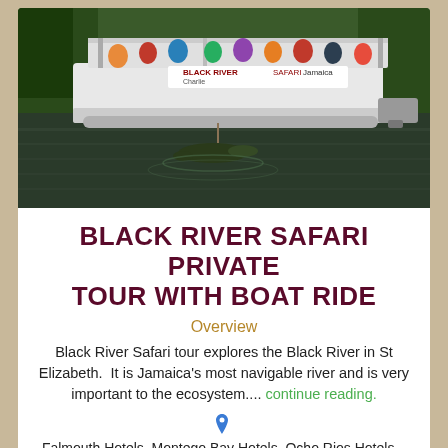[Figure (photo): Tourists on a Black River Safari boat on the Black River in Jamaica, with a crocodile visible in the water below]
BLACK RIVER SAFARI PRIVATE TOUR WITH BOAT RIDE
Overview
Black River Safari tour explores the Black River in St Elizabeth.  It is Jamaica's most navigable river and is very important to the ecosystem.... continue reading.
Falmouth Hotels, Montego Bay Hotels, Ocho Rios Hotels, Runaway Bay Hotels   2 hours
PRICES STARTING FROM